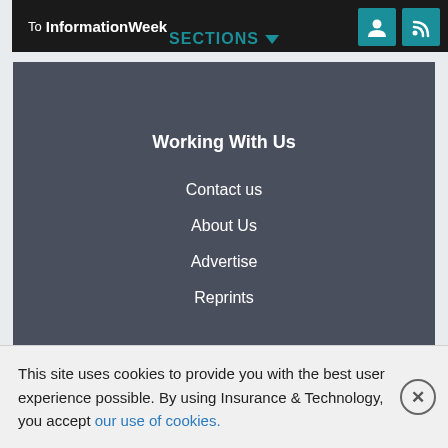To InformationWeek
SECTIONS
[Figure (screenshot): Navigation dropdown menu panel with dark blue-gray background showing Working With Us section]
Working With Us
Contact us
About Us
Advertise
Reprints
This site uses cookies to provide you with the best user experience possible. By using Insurance & Technology, you accept our use of cookies.